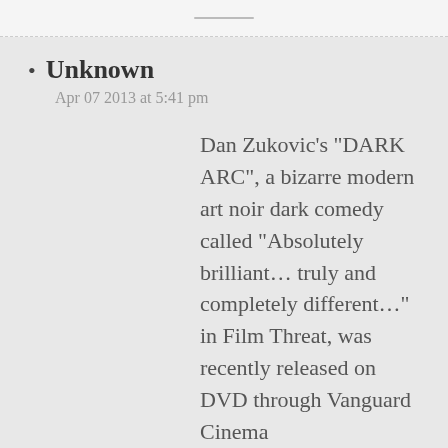Unknown
Apr 07 2013 at 5:41 pm
Dan Zukovic's "DARK ARC", a bizarre modern art noir dark comedy called "Absolutely brilliant… truly and completely different…" in Film Threat, was recently released on DVD through Vanguard Cinema (http://www.vanguardcinema.com/darkarc/darkarc.htm), and is currently